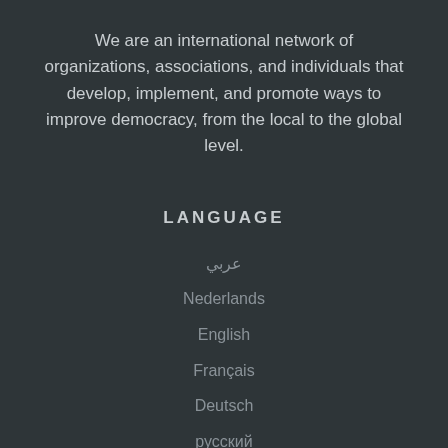We are an international network of organizations, associations, and individuals that develop, implement, and promote ways to improve democracy, from the local to the global level.
LANGUAGE
عربي
Nederlands
English
Français
Deutsch
русский
Indonesia